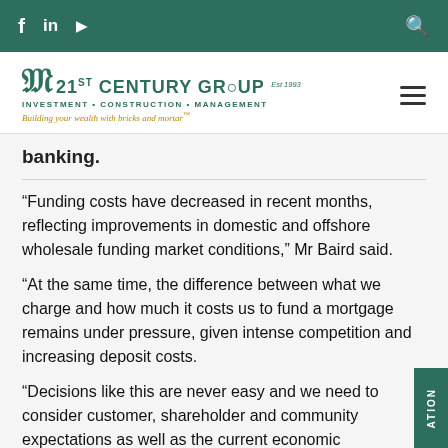f  in  ▶  [search icon]
[Figure (logo): 21st Century Group logo with tagline 'Building your wealth with bricks and mortar'. Subtitle: INVESTMENT • CONSTRUCTION • MANAGEMENT. Est 1993.]
banking.
“Funding costs have decreased in recent months, reflecting improvements in domestic and offshore wholesale funding market conditions,” Mr Baird said.
“At the same time, the difference between what we charge and how much it costs us to fund a mortgage remains under pressure, given intense competition and increasing deposit costs.
“Decisions like this are never easy and we need to consider customer, shareholder and community expectations as well as the current economic environment to strike the right